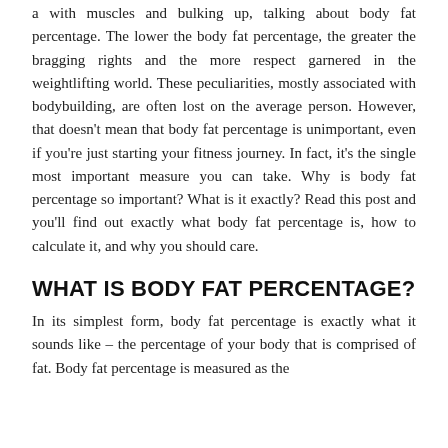a with muscles and bulking up, talking about body fat percentage. The lower the body fat percentage, the greater the bragging rights and the more respect garnered in the weightlifting world. These peculiarities, mostly associated with bodybuilding, are often lost on the average person. However, that doesn't mean that body fat percentage is unimportant, even if you're just starting your fitness journey. In fact, it's the single most important measure you can take. Why is body fat percentage so important? What is it exactly? Read this post and you'll find out exactly what body fat percentage is, how to calculate it, and why you should care.
WHAT IS BODY FAT PERCENTAGE?
In its simplest form, body fat percentage is exactly what it sounds like – the percentage of your body that is comprised of fat. Body fat percentage is measured as the